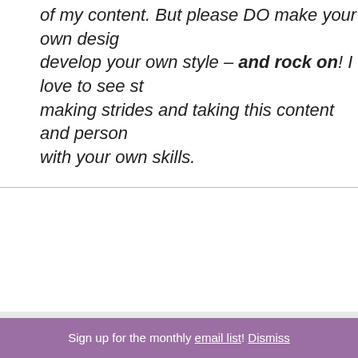of my content. But please DO make your own design, develop your own style – and rock on! I love to see students making strides and taking this content and personalizing it with your own skills.
To provide the best experience, we use technologies like cookies to store and/or access device information.
Accept
Deny
Sign up for the monthly email list! Dismiss